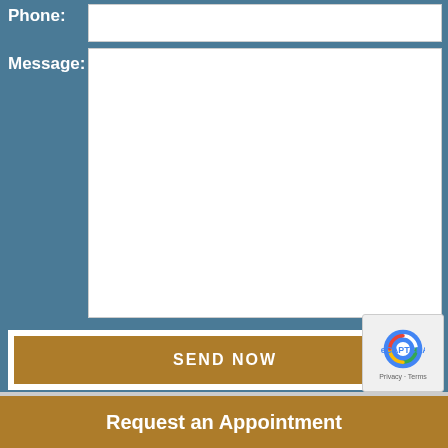Phone:
Message:
SEND NOW
Request an Appointment